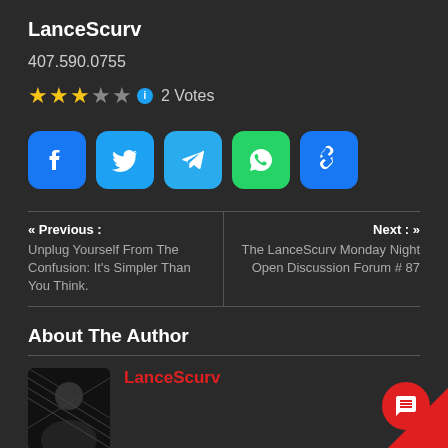LanceScurv
407.590.0755
★★★☆☆  2 Votes
[Figure (infographic): Row of five social media share buttons: Facebook, Twitter, Telegram, WhatsApp, and a link/copy icon.]
« Previous : Unplug Yourself From The Confusion: It's Simpler Than You Think.
Next : » The LanceScurv Monday Night Open Discussion Forum # 87
About The Author
LanceScurv